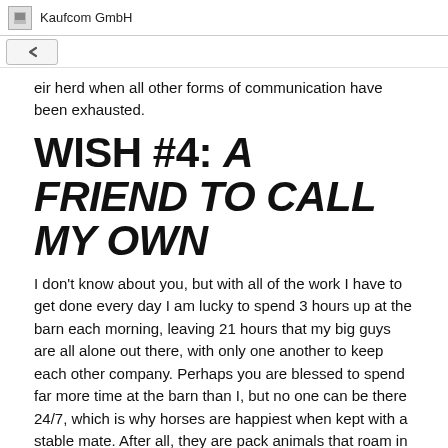Kaufcom GmbH
eir herd when all other forms of communication have been exhausted.
WISH #4: A FRIEND TO CALL MY OWN
I don't know about you, but with all of the work I have to get done every day I am lucky to spend 3 hours up at the barn each morning, leaving 21 hours that my big guys are all alone out there, with only one another to keep each other company. Perhaps you are blessed to spend far more time at the barn than I, but no one can be there 24/7, which is why horses are happiest when kept with a stable mate. After all, they are pack animals that roam in numbers for their #1 goal: safety. When horses are left alone they have no one to keep guard as they sleep, entertain their eyes when